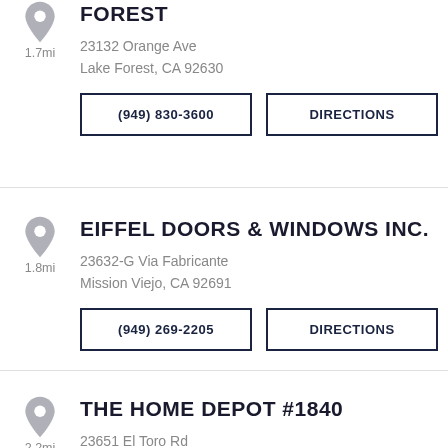[Figure (illustration): Gray map pin icon (partially visible at top)]
1.7mi
FOREST
23132 Orange Ave
Lake Forest, CA 92630
(949) 830-3600
DIRECTIONS
[Figure (illustration): Gray map pin icon]
1.8mi
EIFFEL DOORS & WINDOWS INC.
23632-G Via Fabricante
Mission Viejo, CA 92691
(949) 269-2205
DIRECTIONS
[Figure (illustration): Gray map pin icon]
2.2mi
THE HOME DEPOT #1840
23651 El Toro Rd